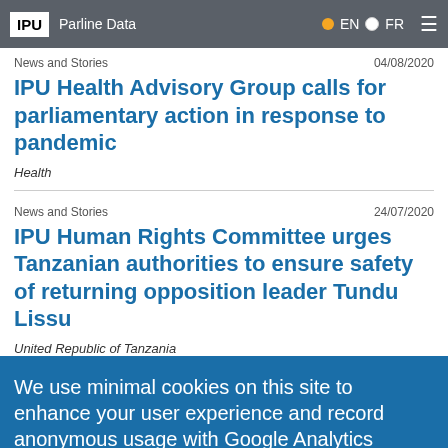IPU  Parline Data  EN  FR
News and Stories  04/08/2020
IPU Health Advisory Group calls for parliamentary action in response to pandemic
Health
News and Stories  24/07/2020
IPU Human Rights Committee urges Tanzanian authorities to ensure safety of returning opposition leader Tundu Lissu
United Republic of Tanzania
We use minimal cookies on this site to enhance your user experience and record anonymous usage with Google Analytics
By continuing to use the site, you agree to us doing so. Clicking the